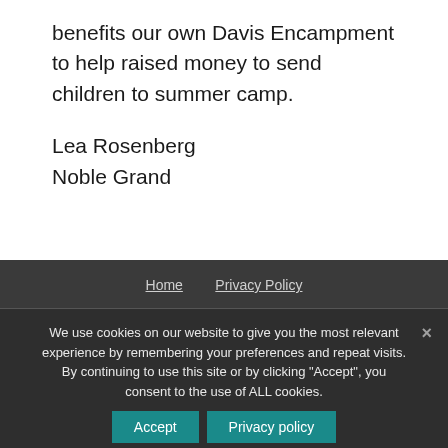benefits our own Davis Encampment to help raised money to send children to summer camp.
Lea Rosenberg
Noble Grand
Home   Privacy Policy
We use cookies on our website to give you the most relevant experience by remembering your preferences and repeat visits. By continuing to use this site or by clicking “Accept”, you consent to the use of ALL cookies.
Share This